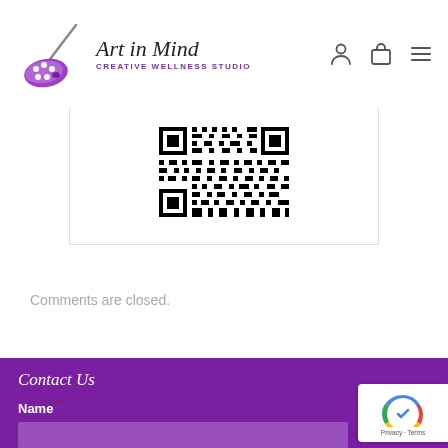Art in Mind Creative Wellness Studio
[Figure (other): QR code image displayed inside a white card]
Comments are closed.
Contact Us
Name *